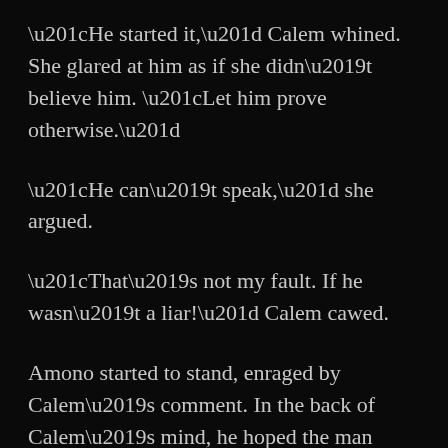“He started it,” Calem whined. She glared at him as if she didn’t believe him. “Let him prove otherwise.”
“He can’t speak,” she argued.
“That’s not my fault. If he wasn’t a liar!” Calem cawed.
Amono started to stand, enraged by Calem’s comment. In the back of Calem’s mind, he hoped the man would beat him. The more he thought about meeting their father the more dread entered his stomach. There was no reason a man like